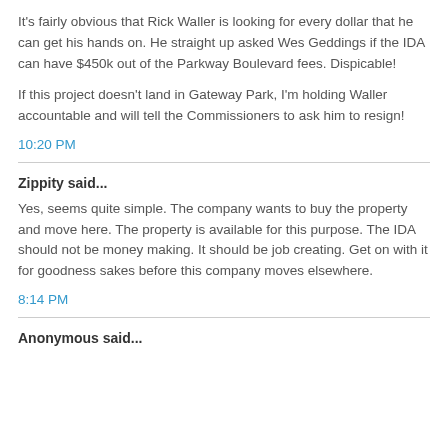It's fairly obvious that Rick Waller is looking for every dollar that he can get his hands on. He straight up asked Wes Geddings if the IDA can have $450k out of the Parkway Boulevard fees. Dispicable!
If this project doesn't land in Gateway Park, I'm holding Waller accountable and will tell the Commissioners to ask him to resign!
10:20 PM
Zippity said...
Yes, seems quite simple. The company wants to buy the property and move here. The property is available for this purpose. The IDA should not be money making. It should be job creating. Get on with it for goodness sakes before this company moves elsewhere.
8:14 PM
Anonymous said...